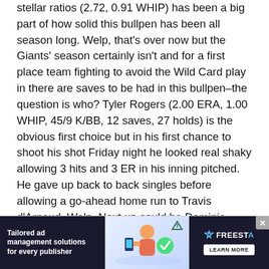stellar ratios (2.72, 0.91 WHIP) has been a big part of how solid this bullpen has been all season long. Welp, that's over now but the Giants' season certainly isn't and for a first place team fighting to avoid the Wild Card play in there are saves to be had in this bullpen–the question is who? Tyler Rogers (2.00 ERA, 1.00 WHIP, 45/9 K/BB, 12 saves, 27 holds) is the obvious first choice but in his first chance to shoot his shot Friday night he looked real shaky allowing 3 hits and 3 ER in his inning pitched. He gave up back to back singles before allowing a go-ahead home run to Travis d'Arnaud. Welp. Next up could be Dominic Leone, who owns 14 holds on the year and an impressive 1.76 ERA, and 1.04 WHIP. He had a rough outing last Wednesday but overall has been reliable with a sub-2 ERA over the past month. Finally, Tony Watson (4.13 ERA, 1.05 WHIP) could see chances in this pen. He's been prone to blow ups but he's got that ever elusive closer experience that managers seem to gush over. So yeah, the only thing clear about this bullpen situation is that we all hope Jake... seems optimis... ue
[Figure (other): Advertisement banner: Tailored ad management solutions for every publisher, with FREESTAR logo and LEARN MORE button]